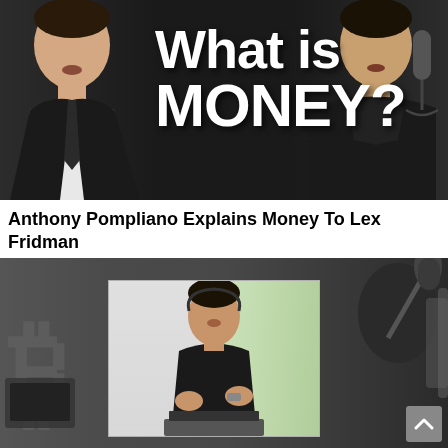[Figure (screenshot): YouTube video thumbnail showing two men in a dark studio setting with bold white text 'What is MONEY?' overlaid in the center. Left person wears a suit and tie, right person wears a dark hoodie with a microphone visible.]
Anthony Pompliano Explains Money To Lex Fridman
[Figure (screenshot): Video screenshot showing a person in a black t-shirt gesturing with hands in a bright inner screen/window, surrounded by dark studio environment with Bitcoin logo visible on left side and microphone equipment on right.]